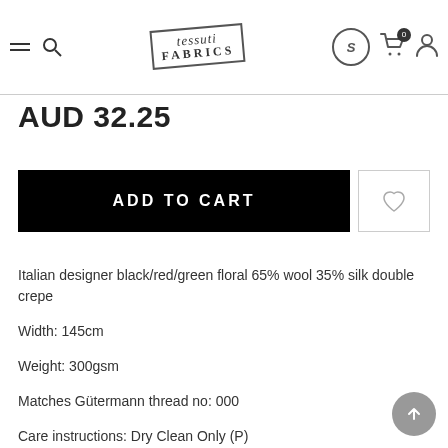[Figure (logo): Tessuti Fabrics logo in a tilted rectangular border with handwritten-style text]
AUD 32.25
ADD TO CART
Italian designer black/red/green floral 65% wool 35% silk double crepe
Width: 145cm
Weight: 300gsm
Matches Gütermann thread no: 000
Care instructions: Dry Clean Only (P)